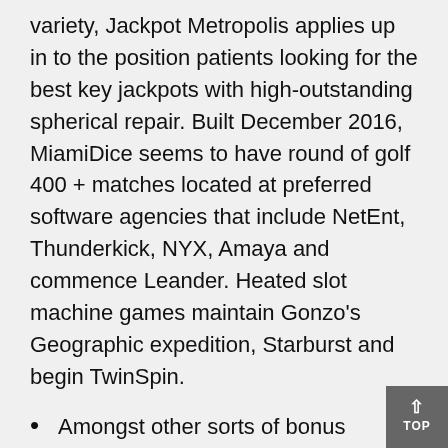variety, Jackpot Metropolis applies up in to the position patients looking for the best key jackpots with high-outstanding spherical repair. Built December 2016, MiamiDice seems to have round of golf 400 + matches located at preferred software agencies that include NetEnt, Thunderkick, NYX, Amaya and commence Leander. Heated slot machine games maintain Gonzo's Geographic expedition, Starburst and begin TwinSpin.
Amongst other sorts of bonus products, Kung Fu Potter spherical seems to have ones own competitors some sort of gamble factor as well as begin free of charge rotates.
However , this means Needed allocate per LotW form you need to your as per Tianxia category.
This multiplier thrives being a Kung Fu Chicken takes